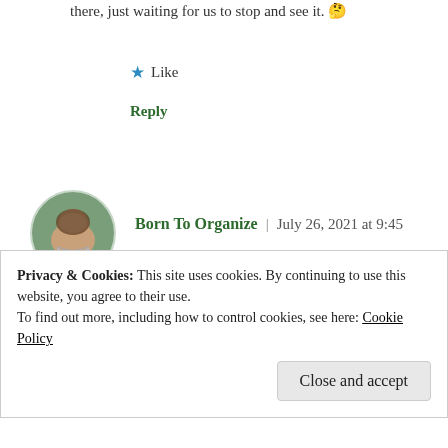there, just waiting for us to stop and see it. 🤔
★ Like
Reply
[Figure (photo): Round avatar photo of a woman, labeled 'am']
Born To Organize | July 26, 2021 at 9:45
We're so dry hear, so mosquitos cease to be a problem once the spring rains stop. I guess that's one very small consolidation for our climate. That said, mosquitos love me so I would be running for the hills, too. I would love to see your patio
Privacy & Cookies: This site uses cookies. By continuing to use this website, you agree to their use.
To find out more, including how to control cookies, see here: Cookie Policy
Close and accept
Reply